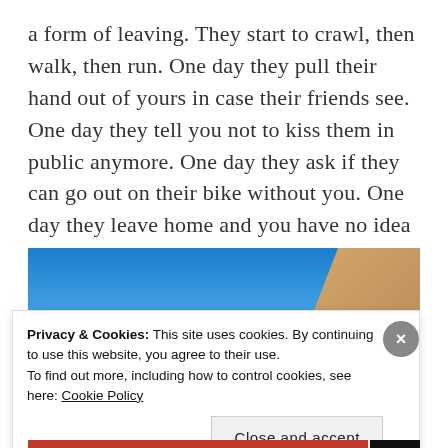a form of leaving. They start to crawl, then walk, then run. One day they pull their hand out of yours in case their friends see. One day they tell you not to kiss them in public anymore. One day they ask if they can go out on their bike without you. One day they leave home and you have no idea where they are or what they are doing most of the time, and you have to live with it. Because they have to do it.
[Figure (photo): Partial photo showing blue sky and what appears to be a sandy or stone surface in the lower right corner, cut off at the bottom of the visible area.]
Privacy & Cookies: This site uses cookies. By continuing to use this website, you agree to their use.
To find out more, including how to control cookies, see here: Cookie Policy